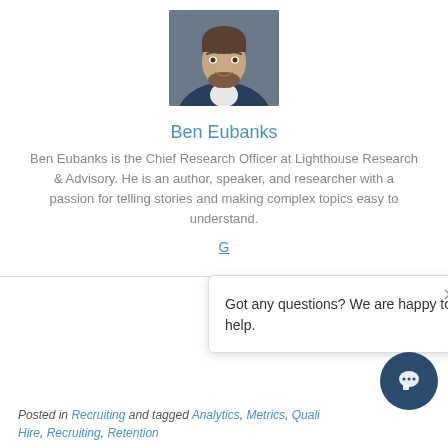[Figure (photo): Headshot portrait photo of Ben Eubanks, a man with short hair and beard wearing a blue suit jacket, against a dark grey background]
Ben Eubanks
Ben Eubanks is the Chief Research Officer at Lighthouse Research & Advisory. He is an author, speaker, and researcher with a passion for telling stories and making complex topics easy to understand.
G...
Got any questions? We are happy to help.
Posted in Recruiting and tagged Analytics, Metrics, Quality of Hire, Recruiting, Retention